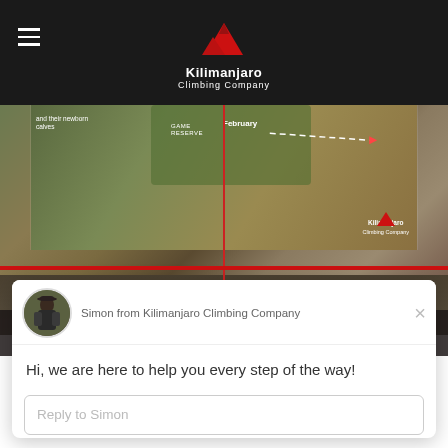[Figure (screenshot): Kilimanjaro Climbing Company website header with black navigation bar, hamburger menu icon, mountain logo in red, and company name in white text]
[Figure (screenshot): Satellite/aerial map showing terrain with game reserve label, February marker with dashed route arrow, red vertical timeline line with dot, and Kilimanjaro badge in bottom right]
MARCH
[Figure (screenshot): Live chat popup from Simon from Kilimanjaro Climbing Company showing avatar photo, greeting message, reply input box, and Drift branding footer]
Simon from Kilimanjaro Climbing Company
Hi, we are here to help you every step of the way!
Reply to Simon
Chat ⚡ by Drift